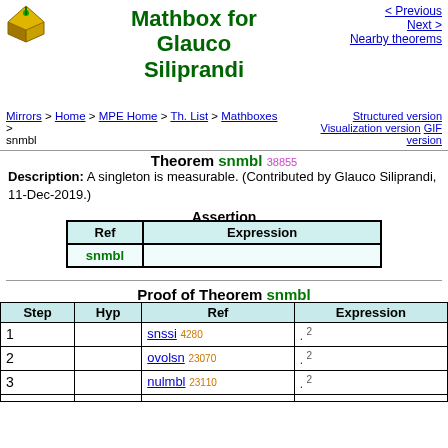Mathbox for Glauco Siliprandi
< Previous  Next >  Nearby theorems
Mirrors > Home > MPE Home > Th. List > Mathboxes > snmbl | Structured version  Visualization version  GIF version
Theorem snmbl 38855
Description: A singleton is measurable. (Contributed by Glauco Siliprandi, 11-Dec-2019.)
Assertion
| Ref | Expression |
| --- | --- |
| snmbl |  |
Proof of Theorem snmbl
| Step | Hyp | Ref | Expression |
| --- | --- | --- | --- |
| 1 |  | snssi 4280 | . 2 |
| 2 |  | ovolsn 23070 | . 2 |
| 3 |  | nulmbl 23110 | . 2 |